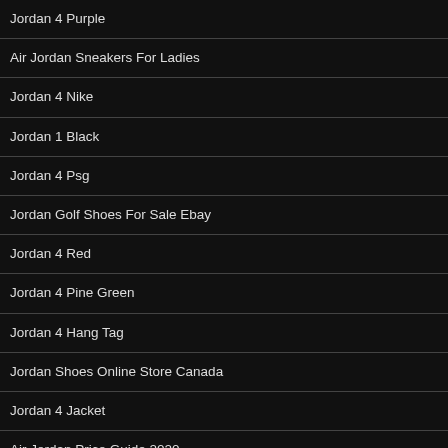Jordan 4 Purple
Air Jordan Sneakers For Ladies
Jordan 4 Nike
Jordan 1 Black
Jordan 4 Psg
Jordan Golf Shoes For Sale Ebay
Jordan 4 Red
Jordan 4 Pine Green
Jordan 4 Hang Tag
Jordan Shoes Online Store Canada
Jordan 4 Jacket
Air Jordan Price Guide 2020
Jordan 4 Toro